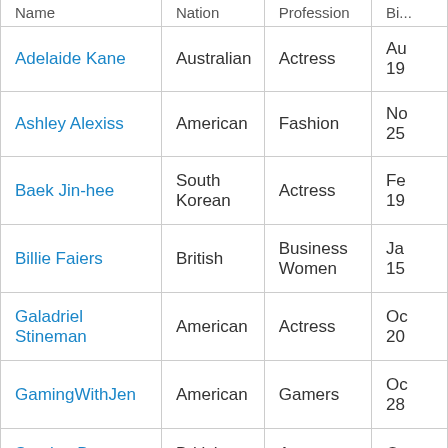| Name | Nation | Profession | Bi... |
| --- | --- | --- | --- |
| Adelaide Kane | Australian | Actress | Au
19 |
| Ashley Alexiss | American | Fashion | No
25 |
| Baek Jin-hee | South Korean | Actress | Fe
19 |
| Billie Faiers | British | Business Women | Ja
15 |
| Galadriel Stineman | American | Actress | Oc
20 |
| GamingWithJen | American | Gamers | Oc
28 |
| Scarlett Byrne | British | Actress | Oc |